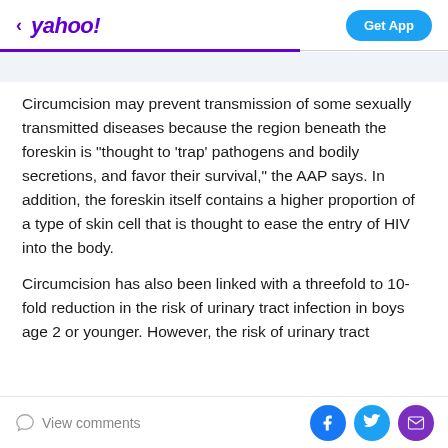< yahoo!  Get App
Circumcision may prevent transmission of some sexually transmitted diseases because the region beneath the foreskin is "thought to 'trap' pathogens and bodily secretions, and favor their survival," the AAP says. In addition, the foreskin itself contains a higher proportion of a type of skin cell that is thought to ease the entry of HIV into the body.
Circumcision has also been linked with a threefold to 10-fold reduction in the risk of urinary tract infection in boys age 2 or younger. However, the risk of urinary tract infection is considered less than 1 percent to...
View comments